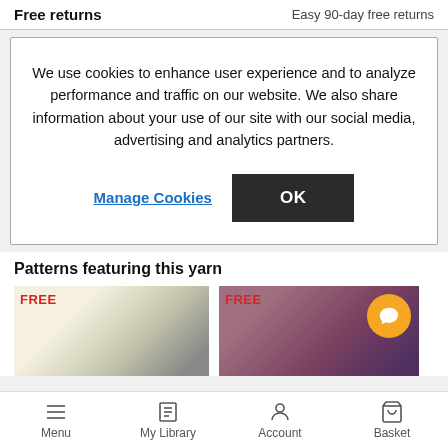Free returns   Easy 90-day free returns
We use cookies to enhance user experience and to analyze performance and traffic on our website. We also share information about your use of our site with our social media, advertising and analytics partners.
Manage Cookies
OK
Patterns featuring this yarn
[Figure (photo): Two yarn pattern thumbnails with FREE badges; right thumbnail has an orange chat bubble icon overlay]
Menu   My Library   Account   Basket